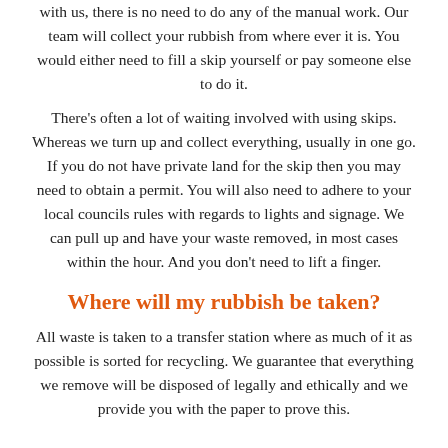with us, there is no need to do any of the manual work. Our team will collect your rubbish from where ever it is. You would either need to fill a skip yourself or pay someone else to do it.
There's often a lot of waiting involved with using skips. Whereas we turn up and collect everything, usually in one go. If you do not have private land for the skip then you may need to obtain a permit. You will also need to adhere to your local councils rules with regards to lights and signage. We can pull up and have your waste removed, in most cases within the hour. And you don't need to lift a finger.
Where will my rubbish be taken?
All waste is taken to a transfer station where as much of it as possible is sorted for recycling. We guarantee that everything we remove will be disposed of legally and ethically and we provide you with the paper to prove this.